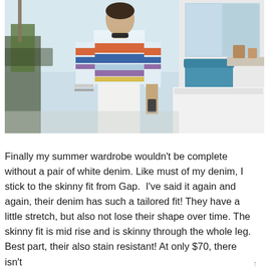[Figure (photo): A young man wearing a colorful horizontally striped knit sweater (with orange, blue, purple, yellow, and light blue/white stripes) and white pants, standing outdoors near a pool or patio area with a blue chair and palm trees visible in the background.]
Finally my summer wardrobe wouldn't be complete without a pair of white denim. Like must of my denim, I stick to the skinny fit from Gap.  I've said it again and again, their denim has such a tailored fit! They have a little stretch, but also not lose their shape over time. The skinny fit is mid rise and is skinny through the whole leg. Best part, their also stain resistant! At only $70, there isn't